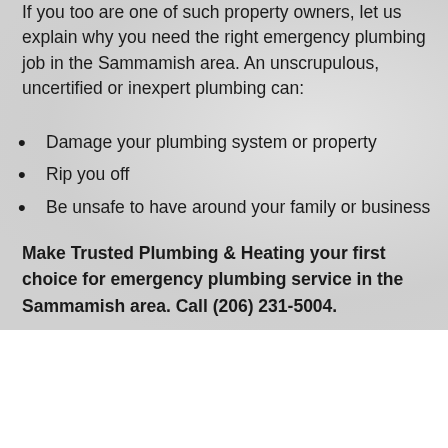If you too are one of such property owners, let us explain why you need the right emergency plumbing job in the Sammamish area. An unscrupulous, uncertified or inexpert plumbing can:
Damage your plumbing system or property
Rip you off
Be unsafe to have around your family or business
Make Trusted Plumbing & Heating your first choice for emergency plumbing service in the Sammamish area. Call (206) 231-5004.
Frequently Asked Questions